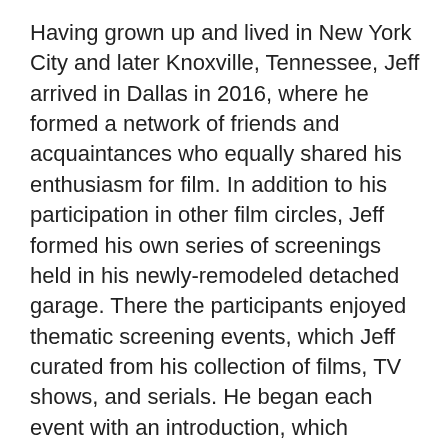Having grown up and lived in New York City and later Knoxville, Tennessee, Jeff arrived in Dallas in 2016, where he formed a network of friends and acquaintances who equally shared his enthusiasm for film. In addition to his participation in other film circles, Jeff formed his own series of screenings held in his newly-remodeled detached garage. There the participants enjoyed thematic screening events, which Jeff curated from his collection of films, TV shows, and serials. He began each event with an introduction, which included stories, some personal, about the cast, producers, scriptwriters, and always accompanied the evening with an exhibit of photos and posters from his extraordinary collections. Regulars could count on visits from one of his 4 "pups," who always managed to find a welcoming lap and seemed to enjoy the company as much as Jeff. Jeff, from everyone at Hamon Library and throughout the Meadows School of the Arts and SMU